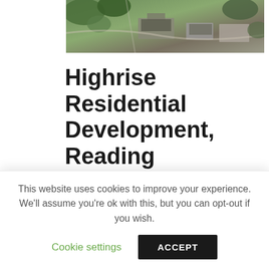[Figure (photo): Aerial/overhead photograph of a construction or development site with green vegetation and structures visible from above]
Highrise Residential Development, Reading
Posted by bjb2018   In 2018
As a part of Moorgarth Group's design team we are proud to be involved in this
This website uses cookies to improve your experience. We'll assume you're ok with this, but you can opt-out if you wish.
Cookie settings   ACCEPT